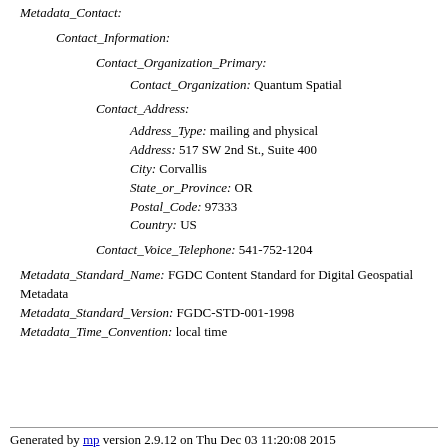Metadata_Contact:
Contact_Information:
Contact_Organization_Primary:
Contact_Organization: Quantum Spatial
Contact_Address:
Address_Type: mailing and physical
Address: 517 SW 2nd St., Suite 400
City: Corvallis
State_or_Province: OR
Postal_Code: 97333
Country: US
Contact_Voice_Telephone: 541-752-1204
Metadata_Standard_Name: FGDC Content Standard for Digital Geospatial Metadata
Metadata_Standard_Version: FGDC-STD-001-1998
Metadata_Time_Convention: local time
Generated by mp version 2.9.12 on Thu Dec 03 11:20:08 2015